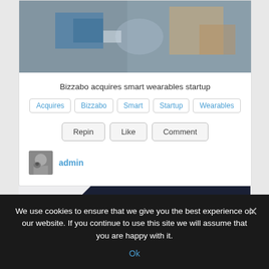[Figure (photo): Blurred photo of people at an event, showing hands and wearable devices]
Bizzabo acquires smart wearables startup
Acquires
Bizzabo
Smart
Startup
Wearables
Repin  Like  Comment
[Figure (photo): Small user avatar thumbnail showing a person with a dog]
admin
[Figure (other): Dark blue card with price ribbon showing $1.05]
We use cookies to ensure that we give you the best experience on our website. If you continue to use this site we will assume that you are happy with it.
Ok